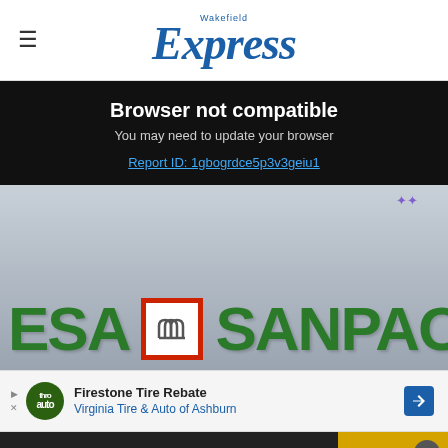Wakefield Express
Browser not compatible
You may need to update your browser
Report ID: 1gbogrdce5p3v3geiu1
[Figure (photo): Close-up photo of the Intesa Sanpaolo bank sign with green letters and the red-bordered logo icon]
[Figure (other): Advertisement: Firestone Tire Rebate - Virginia Tire & Auto of Ashburn]
Get 70% fewer ads. Start your 2-month trial for just £2 per month
Subscribe Today